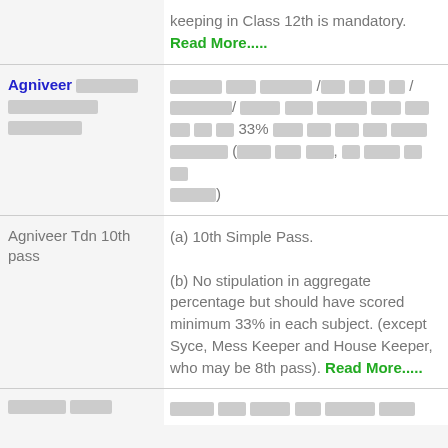keeping in Class 12th is mandatory. Read More.....
| Category | Requirements |
| --- | --- |
| Agniveer [Hindi text] [Hindi text] [Hindi text] | [Hindi text] / [Hindi text] / [Hindi text] / [Hindi text] 33% [Hindi text] ([Hindi text], [Hindi text]) |
| Agniveer Tdn 10th pass | (a) 10th Simple Pass.
(b) No stipulation in aggregate percentage but should have scored minimum 33% in each subject. (except Syce, Mess Keeper and House Keeper, who may be 8th pass). Read More..... |
| [Hindi text] | [Hindi text] |